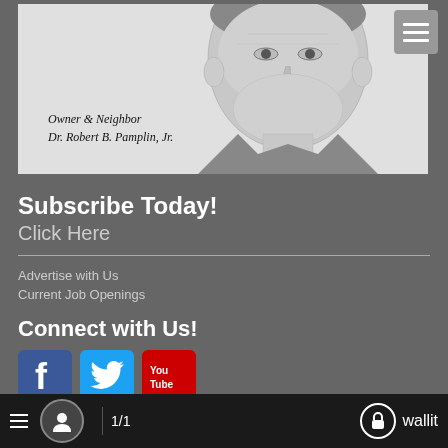[Figure (illustration): Black and white sketch illustration of a smiling middle-aged man in a suit, with caption 'Owner & Neighbor Dr. Robert B. Pamplin, Jr.']
Owner & Neighbor
Dr. Robert B. Pamplin, Jr.
Subscribe Today!
Click Here
Advertise with Us
Current Job Openings
Connect with Us!
[Figure (logo): Facebook, Twitter, and YouTube social media icons]
1/1   wallit